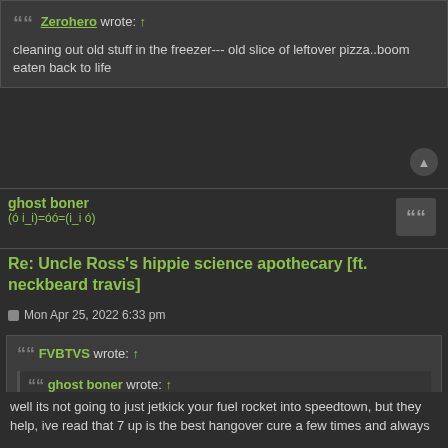Zerohero wrote: ↑ cleaning out old stuff in the freezer--- old slice of leftover pizza..boom eaten back to life
ghost boner
(ó i_i)=óó=(i_i ó)
Re: Uncle Ross's hippie science apothecary [ft. neckbeard travis]
Mon Apr 25, 2022 6:33 pm
FVBTVS wrote: ↑
ghost boner wrote: ↑
7 up and menudo!
[Figure (photo): User avatar photo of a person with long brown hair]
well its not going to just jetkick your fuel rocket into speedtown, but they help, ive read that 7 up is the best hangover cure a few times and always